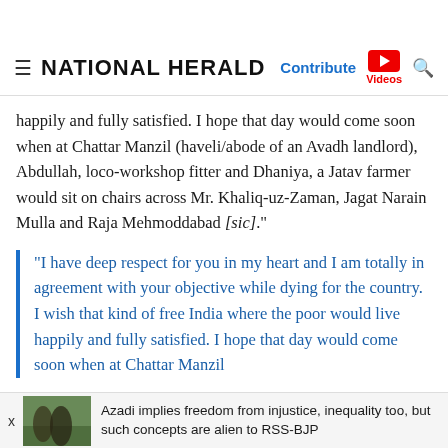NATIONAL HERALD | Contribute | Videos
happily and fully satisfied. I hope that day would come soon when at Chattar Manzil (haveli/abode of an Avadh landlord), Abdullah, loco-workshop fitter and Dhaniya, a Jatav farmer would sit on chairs across Mr. Khaliq-uz-Zaman, Jagat Narain Mulla and Raja Mehmoddabad [sic]."
“I have deep respect for you in my heart and I am totally in agreement with your objective while dying for the country. I wish that kind of free India where the poor would live happily and fully satisfied. I hope that day would come soon when at Chattar Manzil
Azadi implies freedom from injustice, inequality too, but such concepts are alien to RSS-BJP